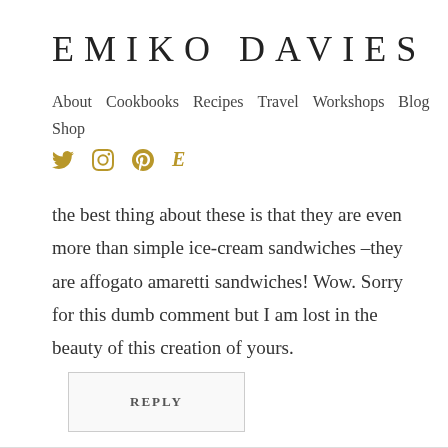EMIKO DAVIES
About  Cookbooks  Recipes  Travel  Workshops  Blog  Shop
the best thing about these is that they are even more than simple ice-cream sandwiches –they are affogato amaretti sandwiches! Wow. Sorry for this dumb comment but I am lost in the beauty of this creation of yours.
REPLY